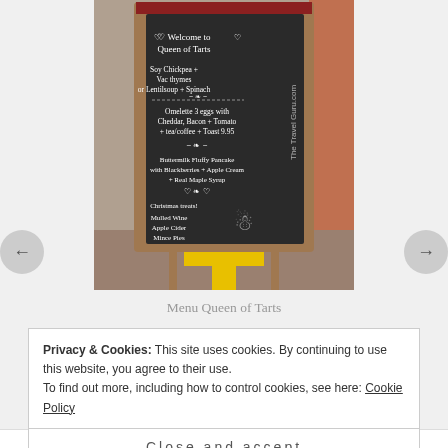[Figure (photo): A chalkboard A-frame sign outside Queen of Tarts cafe/restaurant, showing handwritten menu items in white chalk on a dark board with a decorative wooden frame. Menu includes items like 'Welcome to Queen of Tarts', chickpea dishes, omelette with eggs, Ballon Tomato, coffee and toast, Buttermilk Fluffy Panacake with blackberries and apple cream, mulled wine, apple cider, mince pies. The board sits on a tiled floor with a yellow painted T marking. A watermark reads 'The Travel Guru.com'.]
Menu Queen of Tarts
Privacy & Cookies: This site uses cookies. By continuing to use this website, you agree to their use.
To find out more, including how to control cookies, see here: Cookie Policy
Close and accept